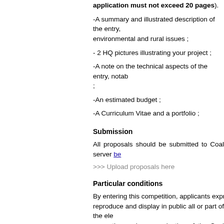application must not exceed 20 pages).
-A summary and illustrated description of the entry, environmental and rural issues ;
- 2 HQ pictures illustrating your project ;
-A note on the technical aspects of the entry, notab ;
-An estimated budget ;
-A Curriculum Vitae and a portfolio ;
Submission
All proposals should be submitted to Coal server be
>>> Upload proposals here
Particular conditions
By entering this competition, applicants expres reproduce and display in public all or part of the ele promotion and communication of the Coal project, LEGAL DURATION OF THE COPYRIGHT. Entri archives of the Coal organization. They will, howev
Participation in this call entails the full acceptance o
> VOIR LA VERSION FRANÇAISE
Contact
For any further requests please write to : contact(a)